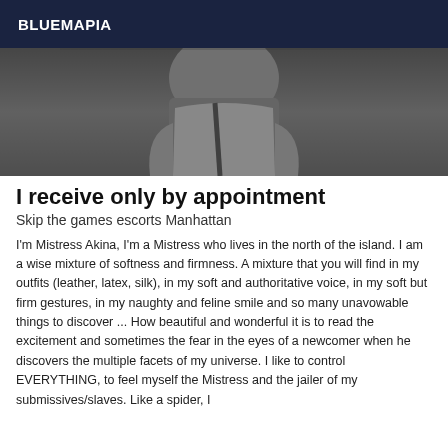BLUEMAPIA
[Figure (photo): Partial view of a person in dark clothing, cropped photo showing torso area against a dark background]
I receive only by appointment
Skip the games escorts Manhattan
I'm Mistress Akina, I'm a Mistress who lives in the north of the island. I am a wise mixture of softness and firmness. A mixture that you will find in my outfits (leather, latex, silk), in my soft and authoritative voice, in my soft but firm gestures, in my naughty and feline smile and so many unavowable things to discover ... How beautiful and wonderful it is to read the excitement and sometimes the fear in the eyes of a newcomer when he discovers the multiple facets of my universe. I like to control EVERYTHING, to feel myself the Mistress and the jailer of my submissives/slaves. Like a spider, I